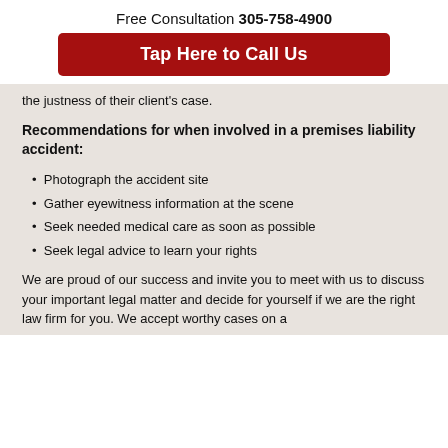Free Consultation 305-758-4900
Tap Here to Call Us
the justness of their client's case.
Recommendations for when involved in a premises liability accident:
Photograph the accident site
Gather eyewitness information at the scene
Seek needed medical care as soon as possible
Seek legal advice to learn your rights
We are proud of our success and invite you to meet with us to discuss your important legal matter and decide for yourself if we are the right law firm for you. We accept worthy cases on a